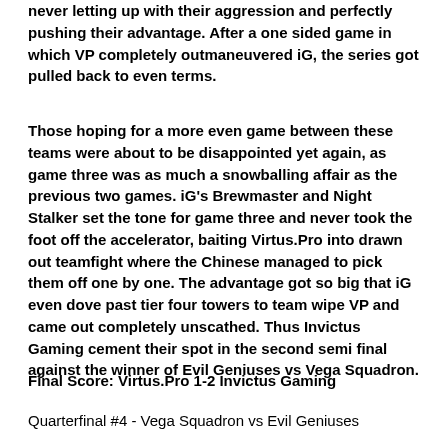never letting up with their aggression and perfectly pushing their advantage. After a one sided game in which VP completely outmaneuvered iG, the series got pulled back to even terms.
Those hoping for a more even game between these teams were about to be disappointed yet again, as game three was as much a snowballing affair as the previous two games. iG's Brewmaster and Night Stalker set the tone for game three and never took the foot off the accelerator, baiting Virtus.Pro into drawn out teamfight where the Chinese managed to pick them off one by one. The advantage got so big that iG even dove past tier four towers to team wipe VP and came out completely unscathed. Thus Invictus Gaming cement their spot in the second semi final against the winner of Evil Geniuses vs Vega Squadron.
Final Score: Virtus.Pro 1-2 Invictus Gaming
Quarterfinal #4 - Vega Squadron vs Evil Geniuses